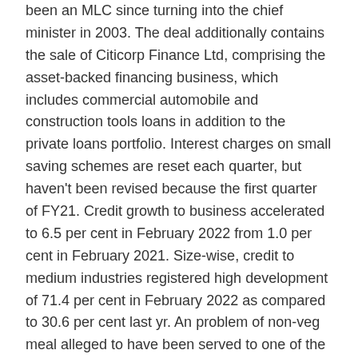been an MLC since turning into the chief minister in 2003. The deal additionally contains the sale of Citicorp Finance Ltd, comprising the asset-backed financing business, which includes commercial automobile and construction tools loans in addition to the private loans portfolio. Interest charges on small saving schemes are reset each quarter, but haven't been revised because the first quarter of FY21. Credit growth to business accelerated to 6.5 per cent in February 2022 from 1.0 per cent in February 2021. Size-wise, credit to medium industries registered high development of 71.4 per cent in February 2022 as compared to 30.6 per cent last yr. An problem of non-veg meal alleged to have been served to one of the passengers…
Christopher Wood, global equity strategist at Jefferies also highlighted the futility of the latest bounce in global technology shares on receding concerns over the Russia-Ukraine disaster.
March 30, 2022 • So far, about one-quarter of Ukraine's